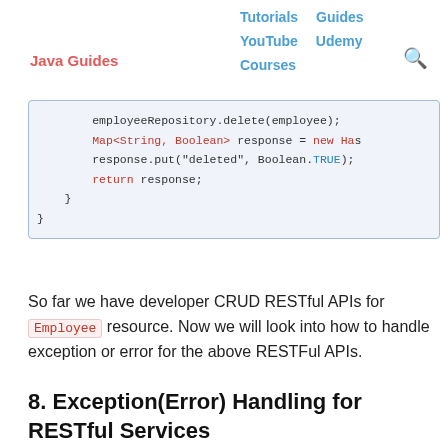Java Guides | Tutorials | Guides | YouTube | Udemy | Courses
[Figure (screenshot): Code block showing Java code: employeeRepository.delete(employee); Map<String, Boolean> response = new Has... response.put("deleted", Boolean.TRUE); return response; } }]
So far we have developer CRUD RESTful APIs for Employee resource. Now we will look into how to handle exception or error for the above RESTFul APIs.
8. Exception(Error) Handling for RESTful Services